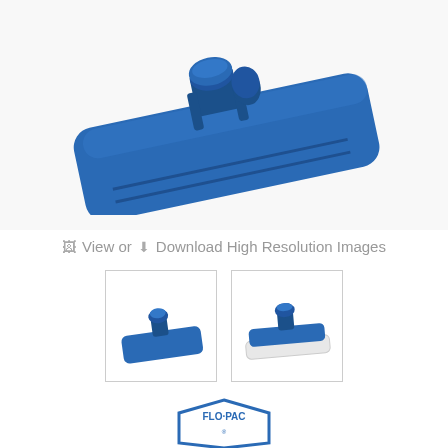[Figure (photo): Blue plastic floor trowel/pad holder with swivel connector, viewed from above at an angle, on white background]
View or  Download High Resolution Images
[Figure (photo): Thumbnail 1: Blue floor pad holder, top view]
[Figure (photo): Thumbnail 2: Blue floor pad holder with white pad attached, side view]
[Figure (logo): Flo-Pac brand logo, hexagonal shape with blue outline and text]